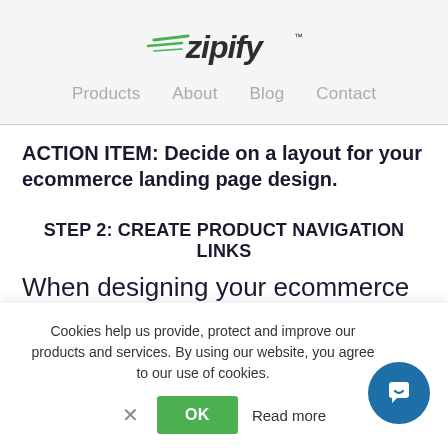[Figure (logo): Zipify logo with green speed lines and dark text]
Products   About   Blog   Contact
ACTION ITEM: Decide on a layout for your ecommerce landing page design.
STEP 2: CREATE PRODUCT NAVIGATION LINKS
When designing your ecommerce landing
Cookies help us provide, protect and improve our products and services. By using our website, you agree to our use of cookies.
OK   Read more